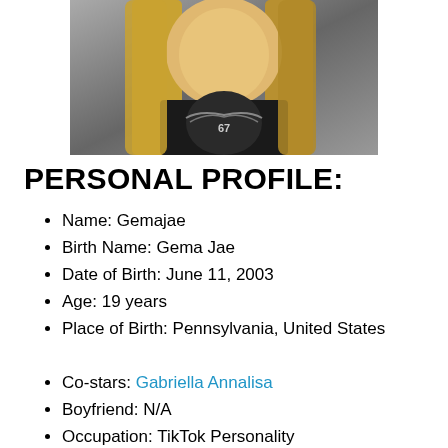[Figure (photo): Young woman with long straight blonde hair wearing a black graphic t-shirt with an eagle/bird design and the number 67, photographed against a gray background.]
PERSONAL PROFILE:
Name: Gemajae
Birth Name: Gema Jae
Date of Birth: June 11, 2003
Age: 19 years
Place of Birth: Pennsylvania, United States
Co-stars: Gabriella Annalisa
Boyfriend: N/A
Occupation: TikTok Personality